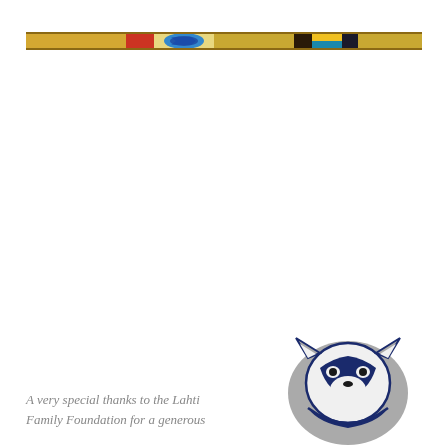[Figure (illustration): Horizontal decorative banner strip with gold/tan background and colorful imagery including a blue circular emblem, flag-like colored panels (red, blue, teal, yellow, dark brown), and Native American design elements.]
A very special thanks to the Lahti Family Foundation for a generous
[Figure (logo): Husky mascot logo — a blue and white wolf/husky head wearing a collar, outlined in navy blue and gray, on a white background.]